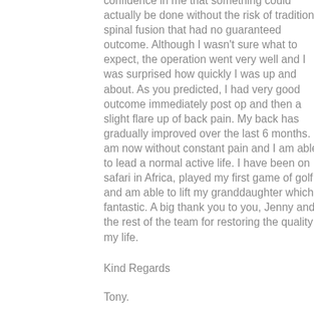confidence in me that something could actually be done without the risk of traditional spinal fusion that had no guaranteed outcome. Although I wasn't sure what to expect, the operation went very well and I was surprised how quickly I was up and about. As you predicted, I had very good outcome immediately post op and then a slight flare up of back pain. My back has gradually improved over the last 6 months. I am now without constant pain and I am able to lead a normal active life. I have been on safari in Africa, played my first game of golf and am able to lift my granddaughter which is fantastic. A big thank you to you, Jenny and the rest of the team for restoring the quality of my life.
Kind Regards
Tony.